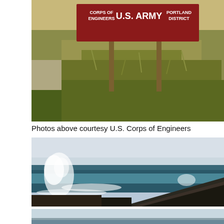[Figure (photo): Photo of a red U.S. Army Corps of Engineers Portland District sign mounted on wooden posts, with grasses and a gravel path visible in the background.]
Photos above courtesy U.S. Corps of Engineers
[Figure (photo): Photo of ocean waves crashing against a rocky jetty under a partly cloudy sky. White water spray is visible on the left side.]
[Figure (photo): Partial photo showing a coastal or water scene with a pale sky and distant horizon, cropped at the bottom of the page.]